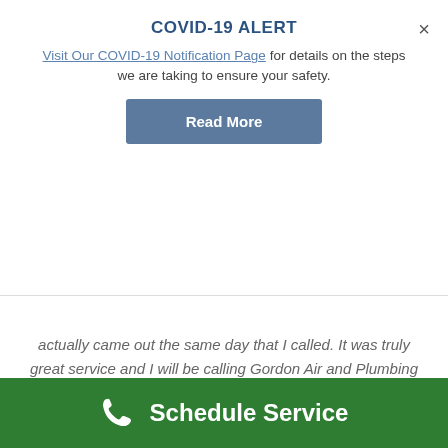COVID-19 ALERT
Visit Our COVID-19 Notification Page for details on the steps we are taking to ensure your safety.
Read More
actually came out the same day that I called. It was truly great service and I will be calling Gordon Air and Plumbing for and future issues that I might have.
[Figure (other): Blue circle avatar with number 66 inside]
Latorya Mason
Schedule Service